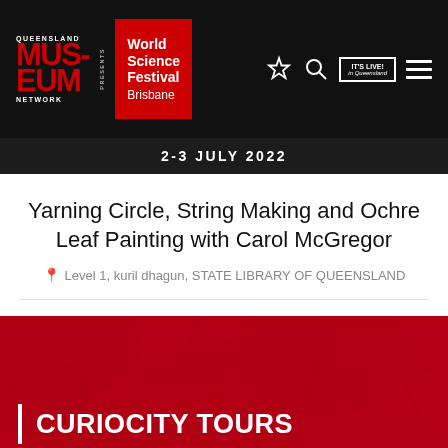[Figure (logo): Queensland Museum Network logo with red MUS-EUM text and World Science Festival Brisbane logo on red background, plus navigation icons including star, search, IT'S LIVE in Queensland badge, and hamburger menu]
2-3 JULY 2022
Yarning Circle, String Making and Ochre Leaf Painting with Carol McGregor
Level 1, kuril dhagun, STATE LIBRARY OF QUEENSLAND
[Figure (photo): Red-tinted background photo with CURIOCITY TOURS text and white vertical bar accent on lower left]